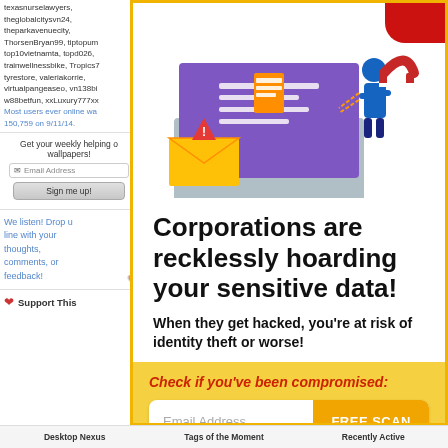texasnurselawyers, theglobalcitysvn24, theparkavenuecity, ThorsenBryan99, tiptopum, top10vietnamta, topd026, trainwellnessbike, Tropics7, tyrestore, valeriakorrie, virtualpangeaseo, vn138bi, w88betfun, xxLuxury777xx
Most users ever online was 150,759 on 9/11/14.
Get your weekly helping of wallpapers!
Email Address
Sign me up!
We listen! Drop us a line with your thoughts, comments, or feedback!
Support This
[Figure (illustration): Ad illustration showing a laptop with an envelope, warning sign, and a figure using a magnet to steal data from the screen]
Corporations are recklessly hoarding your sensitive data!
When they get hacked, you're at risk of identity theft or worse!
Check if you've been compromised:
Email Address
FREE SCAN
Desktop Nexus    Tags of the Moment    Recently Active